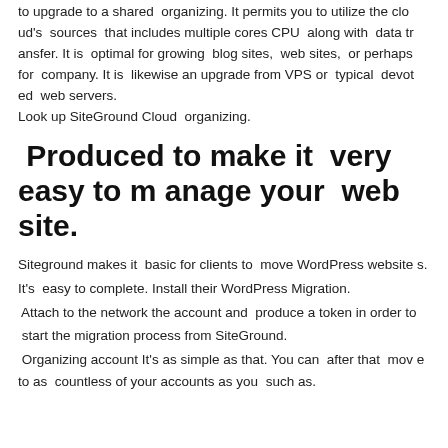to upgrade to a shared organizing. It permits you to utilize the cloud's sources that includes multiple cores CPU along with data transfer. It is optimal for growing blog sites, web sites, or perhaps for company. It is likewise an upgrade from VPS or typical devoted web servers.
Look up SiteGround Cloud organizing.
Produced to make it very easy to manage your web site.
Siteground makes it basic for clients to move WordPress websites.
It's easy to complete. Install their WordPress Migration.
Attach to the network the account and produce a token in order to start the migration process from SiteGround.
Organizing account It's as simple as that. You can after that move to as countless of your accounts as you such as.